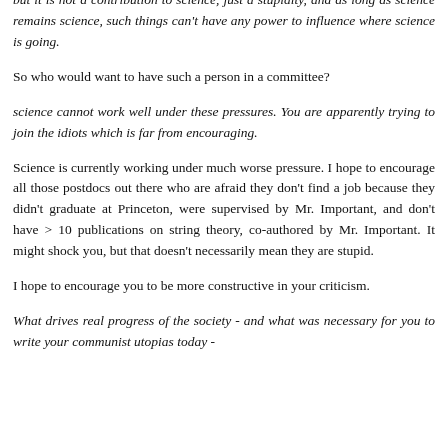but it is not a contribution to science, just a stupidity, and as long as science remains science, such things can't have any power to influence where science is going.
So who would want to have such a person in a committee?
science cannot work well under these pressures. You are apparently trying to join the idiots which is far from encouraging.
Science is currently working under much worse pressure. I hope to encourage all those postdocs out there who are afraid they don't find a job because they didn't graduate at Princeton, were supervised by Mr. Important, and don't have > 10 publications on string theory, co-authored by Mr. Important. It might shock you, but that doesn't necessarily mean they are stupid.
I hope to encourage you to be more constructive in your criticism.
What drives real progress of the society - and what was necessary for you to write your communist utopias today -